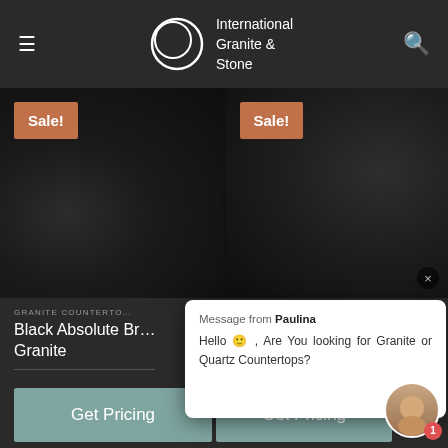International Granite & Stone
[Figure (screenshot): Two dark granite countertop product images side by side, each with an orange 'Sale!' badge in the top left corner. The left card shows a close button (x) in the bottom right.]
GRANITE COUNTERTOPS
Black Absolute Br… Granite
[Figure (screenshot): Chat overlay bubble from Paulina saying: 'Hello, Are You looking for Granite or Quartz Countertops?']
Message from Paulina
Hello 🙂, Are You looking for Granite or Quartz Countertops?
Get Pricing
Get Pricing